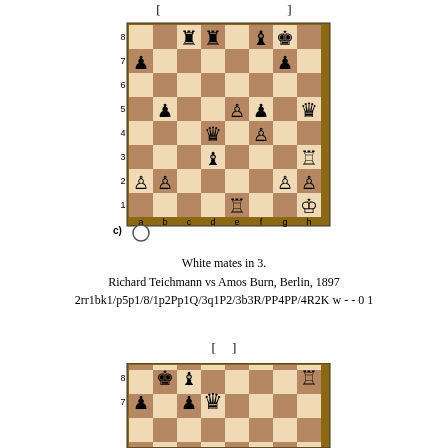[ ]
[Figure (other): Chess board diagram c) showing position: 2rr1bk1/p5p1/8/1p2Pp1Q/3q1P2/3b3R/PP4PP/4R2K w - - 0 1. White to move and mate in 3. Features pieces including white queen on h5, black queen on d4, white rook on h3, etc.]
White mates in 3.
Richard Teichmann vs Amos Burn, Berlin, 1897
2rr1bk1/p5p1/8/1p2Pp1Q/3q1P2/3b3R/PP4PP/4R2K w - - 0 1
[ ]
[Figure (other): Partial chess board diagram showing another puzzle position, partially visible at bottom of page.]